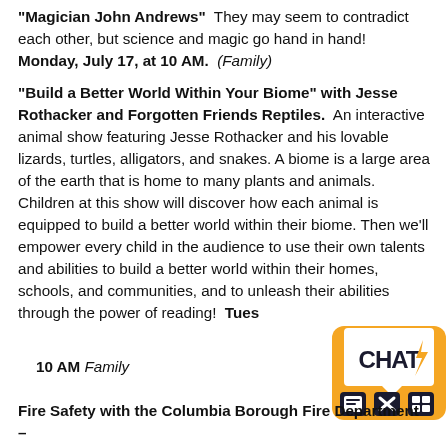"Magician John Andrews"  They may seem to contradict each other, but science and magic go hand in hand! Monday, July 17, at 10 AM.  (Family)
"Build a Better World Within Your Biome" with Jesse Rothacker and Forgotten Friends Reptiles.  An interactive animal show featuring Jesse Rothacker and his lovable lizards, turtles, alligators, and snakes. A biome is a large area of the earth that is home to many plants and animals. Children at this show will discover how each animal is equipped to build a better world within their biome. Then we'll empower every child in the audience to use their own talents and abilities to build a better world within their homes, schools, and communities, and to unleash their abilities through the power of reading!  Tues... 10 AM Family
[Figure (logo): Orange chat bubble logo with 'CHAT' text and lightning bolt, with icons below]
Fire Safety with the Columbia Borough Fire Department –